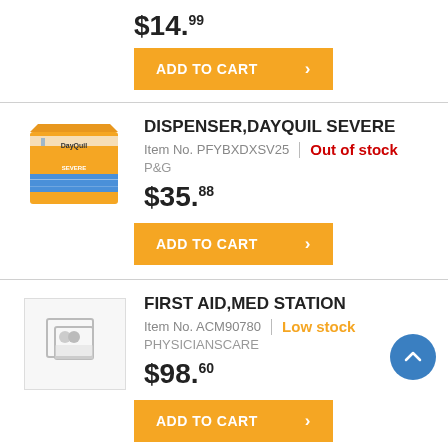$14.99
ADD TO CART
DISPENSER,DAYQUIL SEVERE
Item No. PFYBXDXSV25 | Out of stock
P&G
$35.88
ADD TO CART
FIRST AID,MED STATION
Item No. ACM90780 | Low stock
PHYSICIANSCARE
$98.60
ADD TO CART